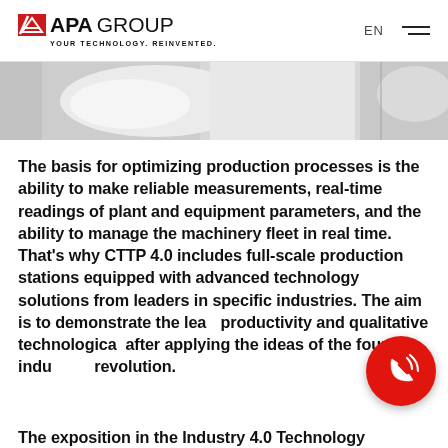APA GROUP — YOUR TECHNOLOGY. REINVENTED. | EN
[Figure (photo): Partial view of industrial machinery/equipment, white and grey tones, against a light background. Right side shows additional equipment partially visible.]
The basis for optimizing production processes is the ability to make reliable measurements, real-time readings of plant and equipment parameters, and the ability to manage the machinery fleet in real time. That's why CTTP 4.0 includes full-scale production stations equipped with advanced technology solutions from leaders in specific industries. The aim is to demonstrate the lea[n] productivity and qualitative technological [improvements] after applying the ideas of the fourth indu[strial] revolution.
The exposition in the Industry 4.0 Technology